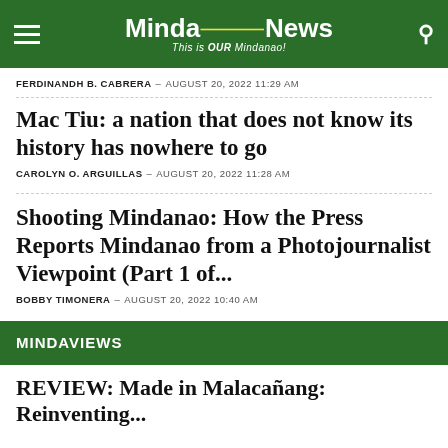MindaNews – This is OUR Mindanao!
FERDINANDH B. CABRERA – AUGUST 20, 2022 11:29 AM
Mac Tiu: a nation that does not know its history has nowhere to go
CAROLYN O. ARGUILLAS – AUGUST 20, 2022 11:28 AM
Shooting Mindanao: How the Press Reports Mindanao from a Photojournalist Viewpoint (Part 1 of...
BOBBY TIMONERA – AUGUST 20, 2022 10:40 AM
MINDAVIEWS
REVIEW: Made in Malacañang: Reinventing...